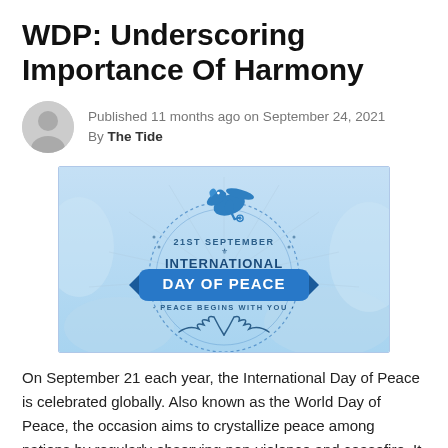WDP: Underscoring Importance Of Harmony
Published 11 months ago on September 24, 2021
By The Tide
[Figure (illustration): International Day of Peace graphic with a blue dove carrying an olive branch, text reading '21ST SEPTEMBER INTERNATIONAL DAY OF PEACE · PEACE BEGINS WITH YOU ·' on a blue sky background with clouds]
On September 21 each year, the International Day of Peace is celebrated globally. Also known as the World Day of Peace, the occasion aims to crystallize peace among nations by regularly observing non-violence and ceasefire. It is a time devoted to facilitating